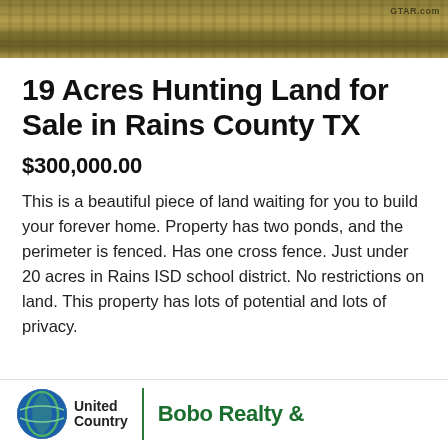[Figure (photo): Aerial or ground-level photo of dry grass/hay field land in Rains County TX]
19 Acres Hunting Land for Sale in Rains County TX
$300,000.00
This is a beautiful piece of land waiting for you to build your forever home. Property has two ponds, and the perimeter is fenced. Has one cross fence. Just under 20 acres in Rains ISD school district. No restrictions on land. This property has lots of potential and lots of privacy.
[Figure (logo): United Country | Bobo Realty & logo at bottom of page]